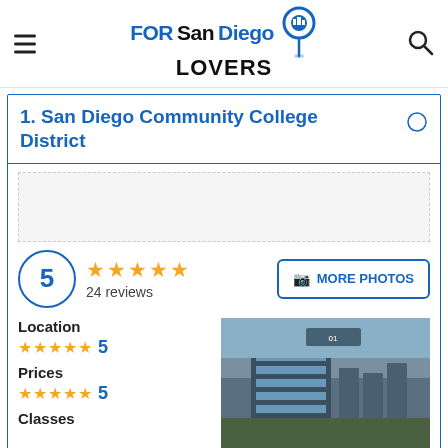FORSanDiegoLOVERS
1. San Diego Community College District
5 — 24 reviews
MORE PHOTOS
Location — 5 stars — 5
Prices — 5 stars — 5
Classes